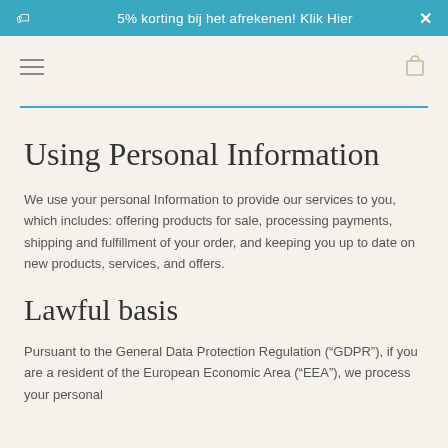5% korting bij het afrekenen! Klik Hier
Using Personal Information
We use your personal Information to provide our services to you, which includes: offering products for sale, processing payments, shipping and fulfillment of your order, and keeping you up to date on new products, services, and offers.
Lawful basis
Pursuant to the General Data Protection Regulation (“GDPR”), if you are a resident of the European Economic Area (“EEA”), we process your personal